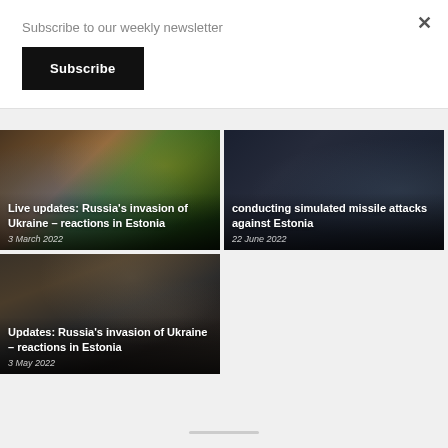Subscribe to our weekly newsletter
Subscribe
[Figure (photo): Article card with crowd holding Ukraine flags. Title: Live updates: Russia's invasion of Ukraine – reactions in Estonia. Date: 3 March 2022]
[Figure (photo): Article card with dark military ship image. Title (partial): conducting simulated missile attacks against Estonia. Date: 22 June 2022]
[Figure (photo): Article card with soldiers/crowd scene. Title: Updates: Russia's invasion of Ukraine – reactions in Estonia. Date: 3 May 2022]